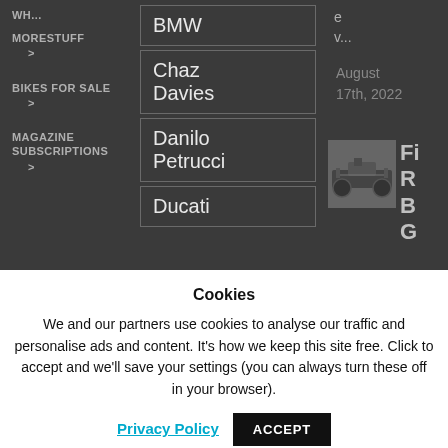WH... (partial, cropped)
MORESTUFF >
BIKES FOR SALE >
MAGAZINE SUBSCRIPTIONS >
BMW
Chaz Davies
Danilo Petrucci
Ducati
e v... (partial, cropped)
August 17th, 2022
[Figure (photo): Thumbnail of motorcycles parked]
Fi R B G (partial letters, cropped)
Cookies
We and our partners use cookies to analyse our traffic and personalise ads and content. It's how we keep this site free. Click to accept and we'll save your settings (you can always turn these off in your browser).
Privacy Policy
ACCEPT